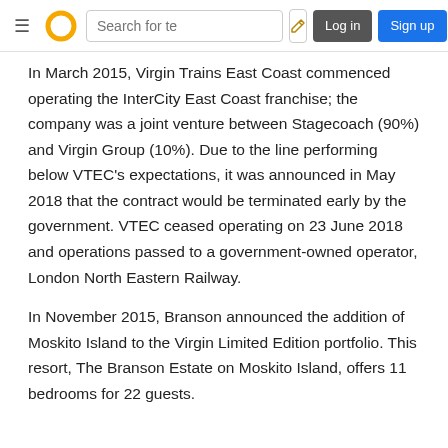Wikipedia navigation bar with hamburger menu, logo, search box, edit button, Log in and Sign up buttons
In March 2015, Virgin Trains East Coast commenced operating the InterCity East Coast franchise; the company was a joint venture between Stagecoach (90%) and Virgin Group (10%). Due to the line performing below VTEC's expectations, it was announced in May 2018 that the contract would be terminated early by the government. VTEC ceased operating on 23 June 2018 and operations passed to a government-owned operator, London North Eastern Railway.
In November 2015, Branson announced the addition of Moskito Island to the Virgin Limited Edition portfolio. This resort, The Branson Estate on Moskito Island, offers 11 bedrooms for 22 guests.